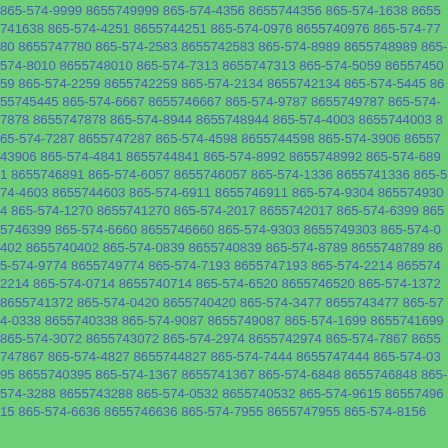865-574-9999 8655749999 865-574-4356 8655744356 865-574-1638 8655741638 865-574-4251 8655744251 865-574-0976 8655740976 865-574-7780 8655747780 865-574-2583 8655742583 865-574-8989 8655748989 865-574-8010 8655748010 865-574-7313 8655747313 865-574-5059 8655745059 865-574-2259 8655742259 865-574-2134 8655742134 865-574-5445 8655745445 865-574-6667 8655746667 865-574-9787 8655749787 865-574-7878 8655747878 865-574-8944 8655748944 865-574-4003 8655744003 865-574-7287 8655747287 865-574-4598 8655744598 865-574-3906 8655743906 865-574-4841 8655744841 865-574-8992 8655748992 865-574-6891 8655746891 865-574-6057 8655746057 865-574-1336 8655741336 865-574-4603 8655744603 865-574-6911 8655746911 865-574-9304 8655749304 865-574-1270 8655741270 865-574-2017 8655742017 865-574-6399 8655746399 865-574-6660 8655746660 865-574-9303 8655749303 865-574-0402 8655740402 865-574-0839 8655740839 865-574-8789 8655748789 865-574-9774 8655749774 865-574-7193 8655747193 865-574-2214 8655742214 865-574-0714 8655740714 865-574-6520 8655746520 865-574-1372 8655741372 865-574-0420 8655740420 865-574-3477 8655743477 865-574-0338 8655740338 865-574-9087 8655749087 865-574-1699 8655741699 865-574-3072 8655743072 865-574-2974 8655742974 865-574-7867 8655747867 865-574-4827 8655744827 865-574-7444 8655747444 865-574-0395 8655740395 865-574-1367 8655741367 865-574-6848 8655746848 865-574-3288 8655743288 865-574-0532 8655740532 865-574-9615 8655749615 865-574-6636 8655746636 865-574-7955 8655747955 865-574-8156